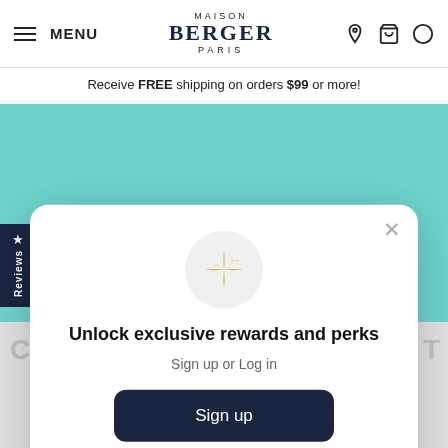MENU | MAISON BERGER PARIS | [location icon] [cart icon] [account icon]
Receive FREE shipping on orders $99 or more!
[Figure (screenshot): Teal/turquoise background banner area]
[Figure (infographic): Modal popup with sparkle icon, 'Unlock exclusive rewards and perks', Sign up or Log in options]
Unlock exclusive rewards and perks
Sign up or Log in
Sign up
Already have an account? Sign in